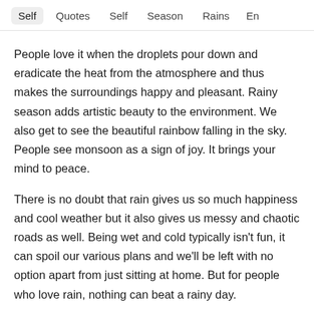Self   Quotes   Self   Season   Rains   En
People love it when the droplets pour down and eradicate the heat from the atmosphere and thus makes the surroundings happy and pleasant. Rainy season adds artistic beauty to the environment. We also get to see the beautiful rainbow falling in the sky. People see monsoon as a sign of joy. It brings your mind to peace.
There is no doubt that rain gives us so much happiness and cool weather but it also gives us messy and chaotic roads as well. Being wet and cold typically isn't fun, it can spoil our various plans and we'll be left with no option apart from just sitting at home. But for people who love rain, nothing can beat a rainy day.